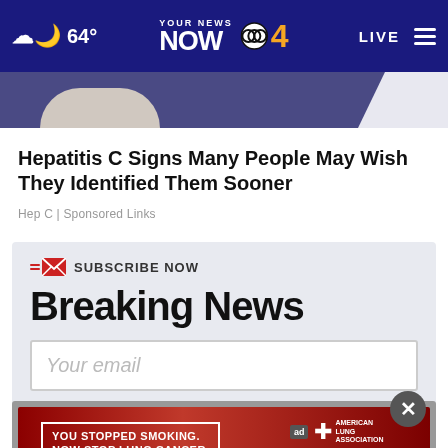64° YOUR NEWS NOW CBS 4 LIVE
[Figure (photo): Partial view of a person in dark clothing against a blue/purple background, cropped at the top of the page]
Hepatitis C Signs Many People May Wish They Identified Them Sooner
Hep C | Sponsored Links
SUBSCRIBE NOW
Breaking News
Your email
[Figure (infographic): Advertisement banner: YOU STOPPED SMOKING. NOW STOP LUNG CANCER. American Lung Association. Get SAVEDBYLTESCAN.ORG]